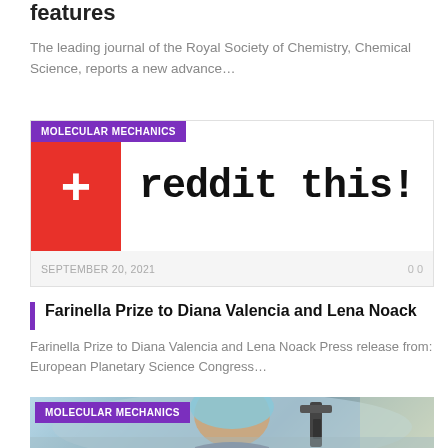features
The leading journal of the Royal Society of Chemistry, Chemical Science, reports a new advance...
[Figure (screenshot): Reddit 'reddit this!' button image with red box containing white plus sign and pixelated text 'reddit this!']
MOLECULAR MECHANICS
SEPTEMBER 20, 2021   0 0
Farinella Prize to Diana Valencia and Lena Noack
Farinella Prize to Diana Valencia and Lena Noack Press release from: European Planetary Science Congress...
[Figure (photo): Scientist wearing blue hairnet looking through microscope]
MOLECULAR MECHANICS